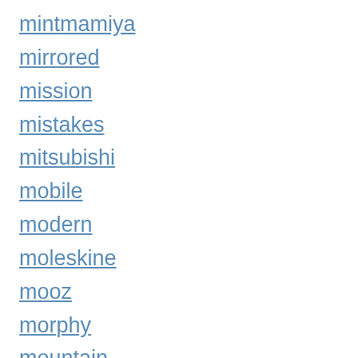mintmamiya
mirrored
mission
mistakes
mitsubishi
mobile
modern
moleskine
mooz
morphy
mountain
moved
multi-purpose
nanamica
naturehike
navara